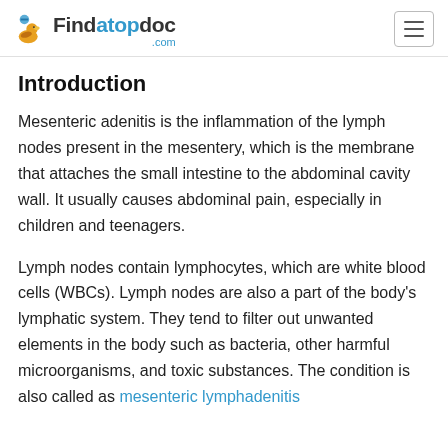Findatopdoc.com
Introduction
Mesenteric adenitis is the inflammation of the lymph nodes present in the mesentery, which is the membrane that attaches the small intestine to the abdominal cavity wall. It usually causes abdominal pain, especially in children and teenagers.
Lymph nodes contain lymphocytes, which are white blood cells (WBCs). Lymph nodes are also a part of the body's lymphatic system. They tend to filter out unwanted elements in the body such as bacteria, other harmful microorganisms, and toxic substances. The condition is also called as mesenteric lymphadenitis